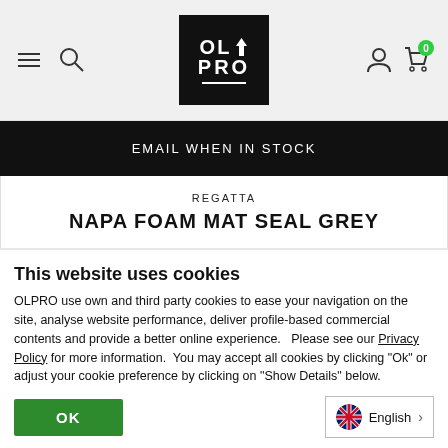[Figure (screenshot): OLPRO website header with hamburger menu, search icon, OLPRO logo (black box with tree icon), user icon, and cart icon with badge showing 0]
EMAIL WHEN IN STOCK
REGATTA
NAPA FOAM MAT SEAL GREY
$23.00  $27.00
This website uses cookies
OLPRO use own and third party cookies to ease your navigation on the site, analyse website performance, deliver profile-based commercial contents and provide a better online experience.  Please see our Privacy Policy for more information.  You may accept all cookies by clicking "Ok" or adjust your cookie preference by clicking on "Show Details" below.
OK
English >